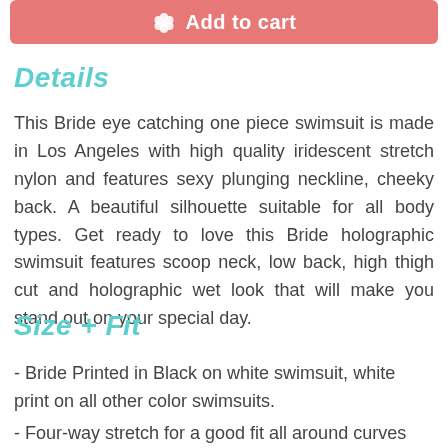[Figure (other): Add to cart button with flower icon, coral/salmon pink background]
Details
This Bride eye catching one piece swimsuit is made in Los Angeles with high quality iridescent stretch nylon and features sexy plunging neckline, cheeky back. A beautiful silhouette suitable for all body types. Get ready to love this Bride holographic swimsuit features scoop neck, low back, high thigh cut and holographic wet look that will make you stand out on your special day.
Size + Fit
- Bride Printed in Black on white swimsuit, white print on all other color swimsuits.
- Four-way stretch for a good fit all around curves